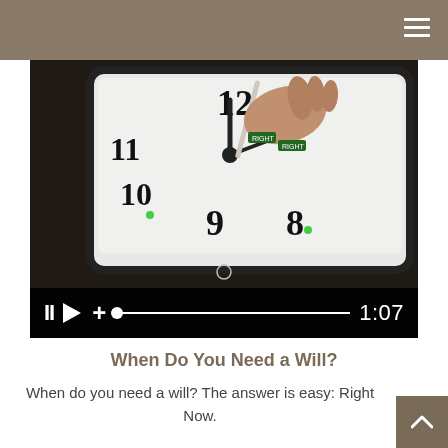[Figure (screenshot): Video player showing a close-up photo of a hand using a stylus on a tablet displaying a clock face with numbers 8, 9, 10, 11, 12. Video controls bar at bottom shows pause, play, plus buttons, a progress bar, and timestamp 1:07.]
When Do You Need a Will?
When do you need a will? The answer is easy: Right Now.